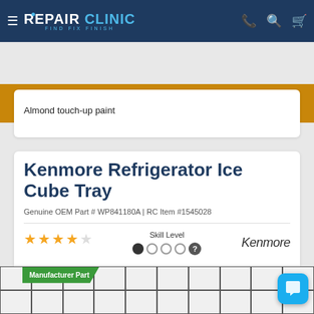REPAIR CLINIC — FIND. FIX. FINISH.
Shipping all 7 days! Hold times are long. Already ordered? Email customerservice@repairclinic.com. Learn more
Almond touch-up paint
Kenmore Refrigerator Ice Cube Tray
Genuine OEM Part # WP841180A | RC Item #1545028
★★★★☆  Skill Level ● ○ ○ ○ ?  Kenmore
Manufacturer Part